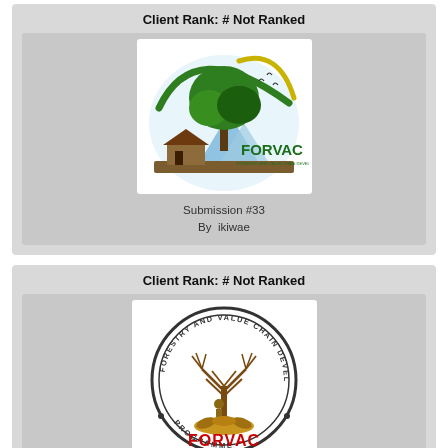Client Rank: # Not Ranked
[Figure (logo): FORVAC Forestry and Value Chain Development Programme modern logo with green tree, mountains, and arc]
Submission #33
By  ikiwae
Client Rank: # Not Ranked
[Figure (logo): FORVAC Forestry and Value Chain Development Programme circular emblem logo with brown tree and text]
Submission #8
By  ikiwae